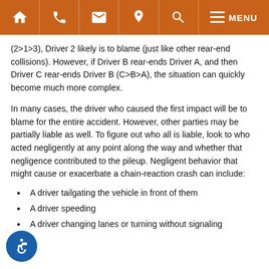Navigation bar with home, phone, email, location, search, and menu icons
(2>1>3), Driver 2 likely is to blame (just like other rear-end collisions). However, if Driver B rear-ends Driver A, and then Driver C rear-ends Driver B (C>B>A), the situation can quickly become much more complex.
In many cases, the driver who caused the first impact will be to blame for the entire accident. However, other parties may be partially liable as well. To figure out who all is liable, look to who acted negligently at any point along the way and whether that negligence contributed to the pileup. Negligent behavior that might cause or exacerbate a chain-reaction crash can include:
A driver tailgating the vehicle in front of them
A driver speeding
A driver changing lanes or turning without signaling